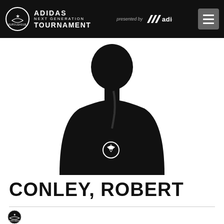ADIDAS NEXT GENERATION TOURNAMENT presented by adidas
[Figure (photo): Silhouette of basketball player against white background, with Euroleague logo on jersey]
CONLEY, ROBERT
[Figure (logo): Euroleague team logo at bottom left]